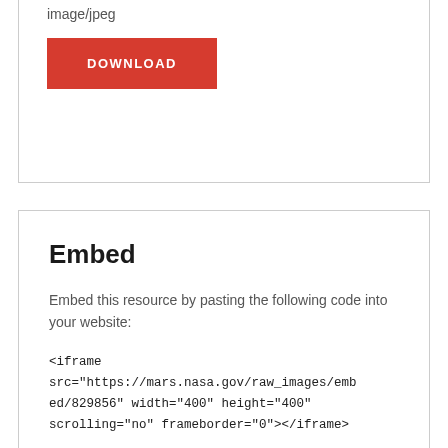image/jpeg
DOWNLOAD
Embed
Embed this resource by pasting the following code into your website:
<iframe src="https://mars.nasa.gov/raw_images/embed/829856" width="400" height="400" scrolling="no" frameborder="0"></iframe>
More Like This